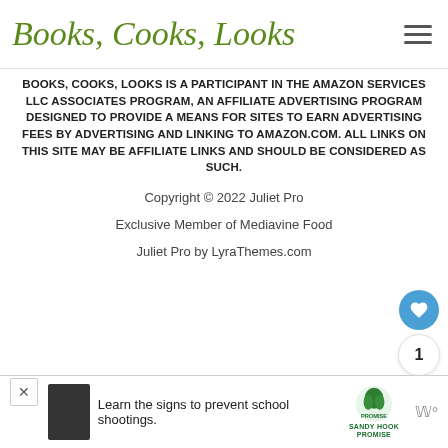Books, Cooks, Looks
BOOKS, COOKS, LOOKS IS A PARTICIPANT IN THE AMAZON SERVICES LLC ASSOCIATES PROGRAM, AN AFFILIATE ADVERTISING PROGRAM DESIGNED TO PROVIDE A MEANS FOR SITES TO EARN ADVERTISING FEES BY ADVERTISING AND LINKING TO AMAZON.COM. ALL LINKS ON THIS SITE MAY BE AFFILIATE LINKS AND SHOULD BE CONSIDERED AS SUCH.
Copyright © 2022 Juliet Pro
Exclusive Member of Mediavine Food
Juliet Pro by LyraThemes.com
[Figure (other): Advertisement banner: Learn the signs to prevent school shootings. Sandy Hook Promise logo.]